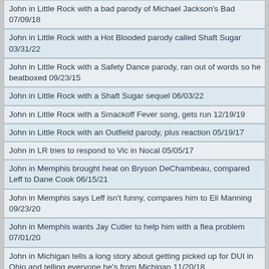John in Little Rock with a bad parody of Michael Jackson's Bad 07/09/18
John in Little Rock with a Hot Blooded parody called Shaft Sugar 03/31/22
John in Little Rock with a Safety Dance parody, ran out of words so he beatboxed 09/23/15
John in Little Rock with a Shaft Sugar sequel 06/03/22
John in Little Rock with a Smackoff Fever song, gets run 12/19/19
John in Little Rock with an Outfield parody, plus reaction 05/19/17
John in LR tries to respond to Vic in Nocal 05/05/17
John in Memphis brought heat on Bryson DeChambeau, compared Leff to Dane Cook 06/15/21
John in Memphis says Leff isn't funny, compares him to Eli Manning 09/23/20
John in Memphis wants Jay Cutler to help him with a flea problem 07/01/20
John in Michigan tells a long story about getting picked up for DUI in Ohio and telling everyone he's from Michigan 11/20/18
John in New York - Eli Manning is like the guy at work that doesn't wear deodorant 10/12/18
John in New York anticipated a call from Rick in Buffalo after the John Beilein news 05/13/19
John in New York calls about the Matt in LA vs. Damon Amendolara beef 06/03/19
John in New York calls to recap his experience at the Hall of Fame induction 11/22/19
John in New York checks in from the hospital after his hip replacement